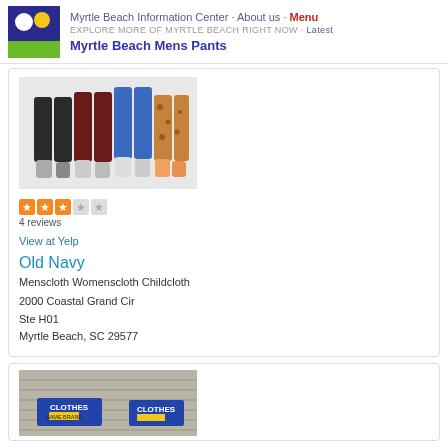Myrtle Beach Information Center · About us · Menu
EXPLORE MORE OF MYRTLE BEACH RIGHT NOW · Latest
Myrtle Beach Mens Pants
[Figure (photo): Photo of four people's legs wearing colorful leggings/pants]
4 reviews
View at Yelp
Old Navy
Menscloth Womenscloth Childcloth
2000 Coastal Grand Cir
Ste H01
Myrtle Beach, SC 29577
[Figure (photo): Partial photo showing clothes signage with 'CLOTHES' text visible]